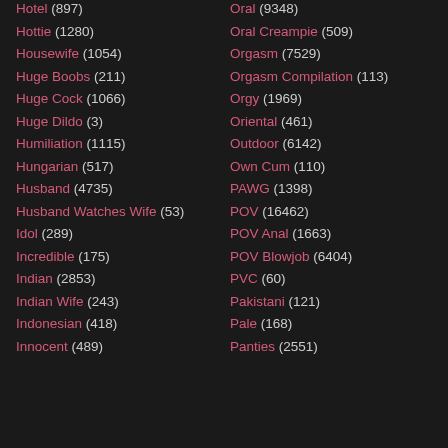Hotel (897)
Hottie (1280)
Housewife (1054)
Huge Boobs (211)
Huge Cock (1066)
Huge Dildo (3)
Humiliation (1115)
Hungarian (517)
Husband (4735)
Husband Watches Wife (53)
Idol (289)
Incredible (175)
Indian (2853)
Indian Wife (243)
Indonesian (418)
Innocent (489)
Oral (9348)
Oral Creampie (509)
Orgasm (7529)
Orgasm Compilation (113)
Orgy (1969)
Oriental (461)
Outdoor (6142)
Own Cum (110)
PAWG (1398)
POV (16462)
POV Anal (1663)
POV Blowjob (6404)
PVC (60)
Pakistani (121)
Pale (168)
Panties (2551)